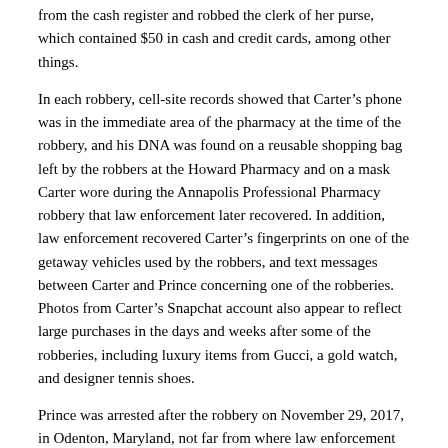from the cash register and robbed the clerk of her purse, which contained $50 in cash and credit cards, among other things.
In each robbery, cell-site records showed that Carter’s phone was in the immediate area of the pharmacy at the time of the robbery, and his DNA was found on a reusable shopping bag left by the robbers at the Howard Pharmacy and on a mask Carter wore during the Annapolis Professional Pharmacy robbery that law enforcement later recovered.  In addition, law enforcement recovered Carter’s fingerprints on one of the getaway vehicles used by the robbers, and text messages between Carter and Prince concerning one of the robberies.  Photos from Carter’s Snapchat account also appear to reflect large purchases in the days and weeks after some of the robberies, including luxury items from Gucci, a gold watch, and designer tennis shoes.
Prince was arrested after the robbery on November 29, 2017, in Odenton, Maryland, not far from where law enforcement located the stolen narcotics.  Carter was arrested at the home of his girlfriend in Laurel.  Searches executed at locations associated with Carter recovered three boxes of .40-caliber ammunition, a gun cleaning kit and related items, and an empty handgun carrying case with a clip in it.
After his arrest and while he was detained, Carter attempted to obstruct justice.  In recorded jail calls, Carter instructed his girlfriend to get rid of